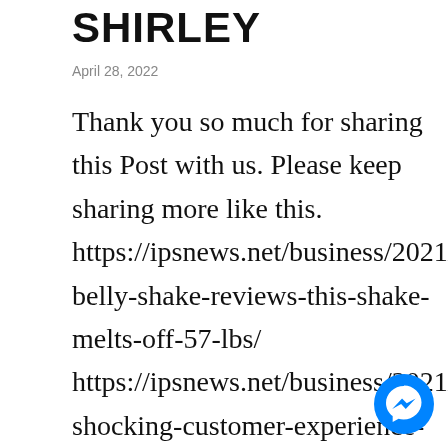SHIRLEY
April 28, 2022
Thank you so much for sharing this Post with us. Please keep sharing more like this. https://ipsnews.net/business/2021/12/flat-belly-shake-reviews-this-shake-melts-off-57-lbs/ https://ipsnews.net/business/2021/05/reviews-shocking-customer-experience-must-read/ https://ipsnews.net/business/2021/07/customer-reviews-shocking-